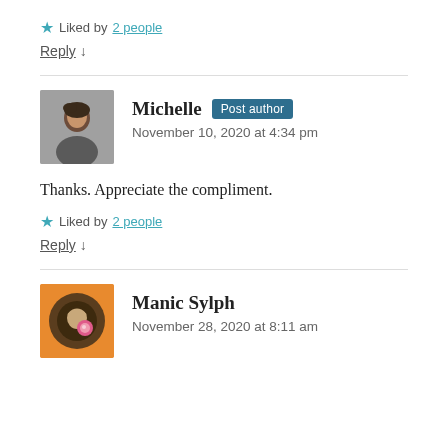★ Liked by 2 people
Reply ↓
Michelle Post author
November 10, 2020 at 4:34 pm
Thanks. Appreciate the compliment.
★ Liked by 2 people
Reply ↓
Manic Sylph
November 28, 2020 at 8:11 am